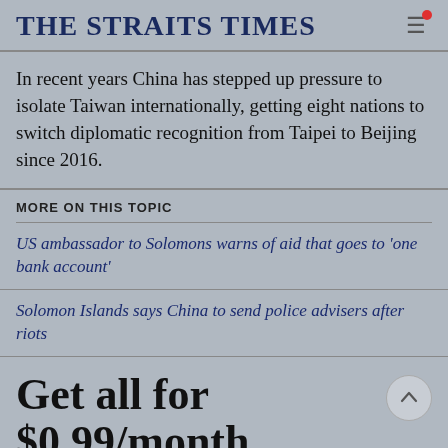THE STRAITS TIMES
In recent years China has stepped up pressure to isolate Taiwan internationally, getting eight nations to switch diplomatic recognition from Taipei to Beijing since 2016.
MORE ON THIS TOPIC
US ambassador to Solomons warns of aid that goes to 'one bank account'
Solomon Islands says China to send police advisers after riots
Get all for $0.99/month
Want more exclusive, sharp insights into what's happening at…